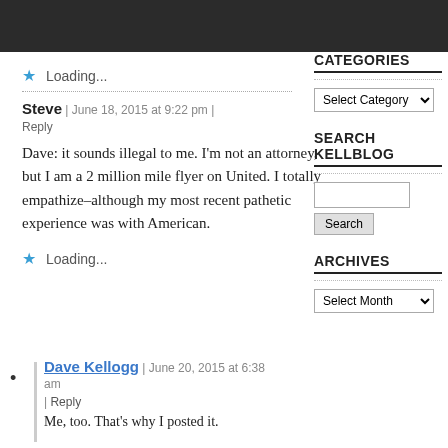[Figure (other): Dark header bar at top of page]
★  Loading...
Steve | June 18, 2015 at 9:22 pm | Reply
Dave: it sounds illegal to me. I'm not an attorney, but I am a 2 million mile flyer on United. I totally empathize–although my most recent pathetic experience was with American.
★  Loading...
CATEGORIES
Select Category
SEARCH KELLBLOG
ARCHIVES
Select Month
• Dave Kellogg | June 20, 2015 at 6:38 am | Reply
Me, too. That's why I posted it.